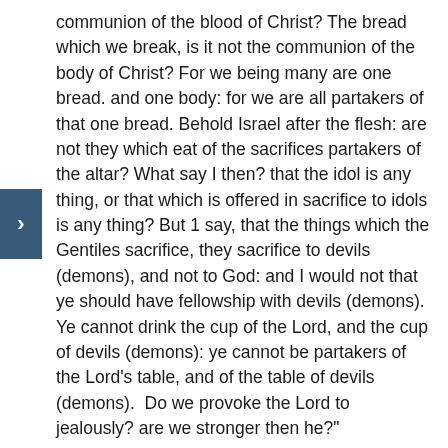communion of the blood of Christ? The bread which we break, is it not the communion of the body of Christ? For we being many are one bread. and one body: for we are all partakers of that one bread. Behold Israel after the flesh: are not they which eat of the sacrifices partakers of the altar? What say I then? that the idol is any thing, or that which is offered in sacrifice to idols is any thing? But 1 say, that the things which the Gentiles sacrifice, they sacrifice to devils (demons), and not to God: and I would not that ye should have fellowship with devils (demons). Ye cannot drink the cup of the Lord, and the cup of devils (demons): ye cannot be partakers of the Lord's table, and of the table of devils (demons).  Do we provoke the Lord to jealously? are we stronger then he?"
II Timothy 2:16-22 "But shun profane and vain babblings: for they will increase unto more ungodliness. And their word will eat as doth a canker: of whom is Hymenaeus and Philetus who concerning the truth have erred, saying that the resurrection is past already; and overthrow the faith of some. Nevertheless the foundation of God standeth sure. having this seal. The Lord